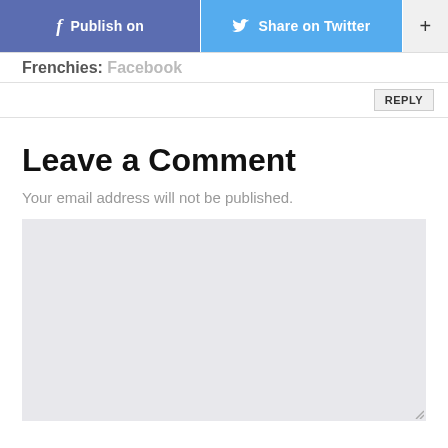[Figure (screenshot): Social share buttons: Publish on Facebook (blue), Share on Twitter (light blue), and a plus (+) button]
Frenchies: Facebook
REPLY
Leave a Comment
Your email address will not be published.
[Figure (screenshot): Empty comment text area input box with light grey background]